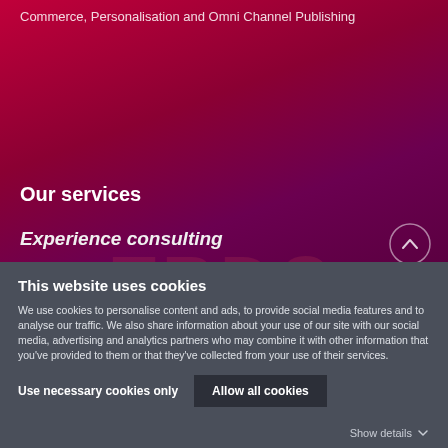Commerce, Personalisation and Omni Channel Publishing
Our services
Experience consulting
This website uses cookies
We use cookies to personalise content and ads, to provide social media features and to analyse our traffic. We also share information about your use of our site with our social media, advertising and analytics partners who may combine it with other information that you've provided to them or that they've collected from your use of their services.
Use necessary cookies only
Allow all cookies
Show details